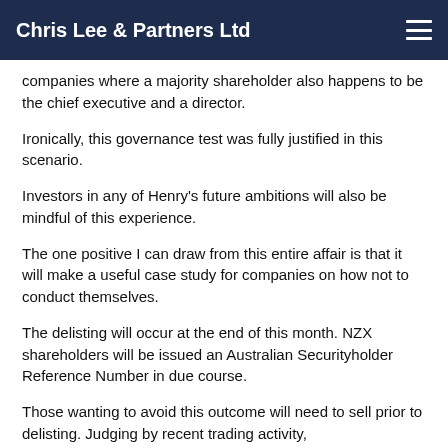Chris Lee & Partners Ltd
companies where a majority shareholder also happens to be the chief executive and a director.
Ironically, this governance test was fully justified in this scenario.
Investors in any of Henry's future ambitions will also be mindful of this experience.
The one positive I can draw from this entire affair is that it will make a useful case study for companies on how not to conduct themselves.
The delisting will occur at the end of this month. NZX shareholders will be issued an Australian Securityholder Reference Number in due course.
Those wanting to avoid this outcome will need to sell prior to delisting. Judging by recent trading activity,